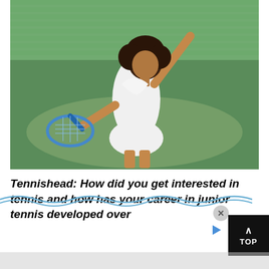[Figure (photo): A female tennis player in white athletic outfit serving, holding a blue tennis racket with her arm raised, on a green court with stadium seats in the background.]
Tennishead: How did you get interested in tennis and how has your career in junior tennis developed over